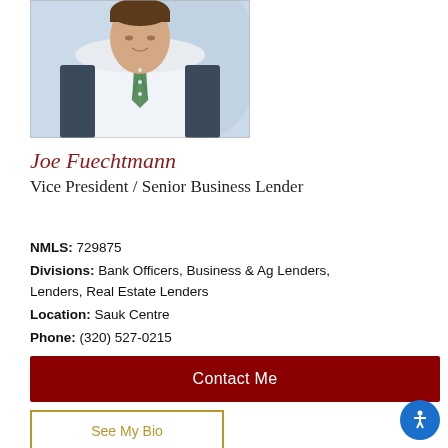[Figure (photo): Professional headshot of Joe Fuechtmann wearing a white button-up shirt and green plaid tie, photographed from approximately waist up, with a blurred background]
Joe Fuechtmann
Vice President / Senior Business Lender
NMLS: 729875
Divisions: Bank Officers, Business & Ag Lenders, Lenders, Real Estate Lenders
Location: Sauk Centre
Phone: (320) 527-0215
Contact Me
See My Bio